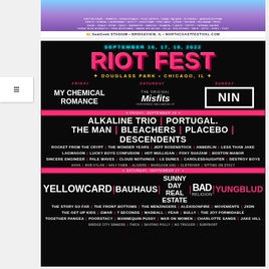[Figure (infographic): North Coast Music Festival banner with artist lineup and SeatGeek Stadium branding, Bridgeview IL, northcoastfestival.com]
[Figure (infographic): Riot Fest 2022 music festival poster. September 16, 17, 18, 2022. Douglass Park, Chicago IL. Headliners: Friday - My Chemical Romance, Saturday - The Original Misfits, Sunday - NIN (Nine Inch Nails). Friday Sept 16 lineup: Alkaline Trio, Portugal The Man, Bleachers, Placebo, Descendents, Rocket From The Crypt, The Wonder Years, Jeff Rosenstock, Anberlin, Less Than Jake, Lagwagon, Lucky Boys Confusion, Hot Mulligan, Foxy Shazam, Boston Manor, Sincere Engineer, Pale Waves, Cloud Nothings, LS Dunes, Carolesdaughter, Destroy Boys, Aviva, Bob Vylan, Holy Fawn, Algiers, Wargasm (UK), Cliffdiver, Sitting On Stacy. Saturday Sept 17 lineup: Yellowcard, Bauhaus, Sunny Day Real Estate, Bad Religion, Yungblud, The Story So Far, The Front Bottoms, The Menzingers, Alexisonfire, Movements, JXDN, The Get Up Kids, GWAR, 7 Seconds, Madball, Fear, Bully, The Joy Formidable, Together Pangea, Poorstacy, Mannequin Pussy, War On Women, Charlotte Sands, Jake Hill, Bridge City Sinners, Thick, Skating Polly, No Trigger, Surfbort.]